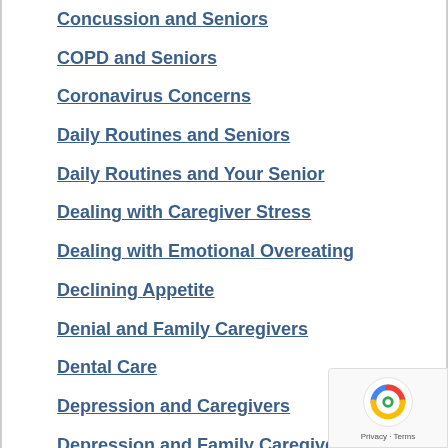Concussion and Seniors
COPD and Seniors
Coronavirus Concerns
Daily Routines and Seniors
Daily Routines and Your Senior
Dealing with Caregiver Stress
Dealing with Emotional Overeating
Declining Appetite
Denial and Family Caregivers
Dental Care
Depression and Caregivers
Depression and Family Caregivers
Depression and Seniors